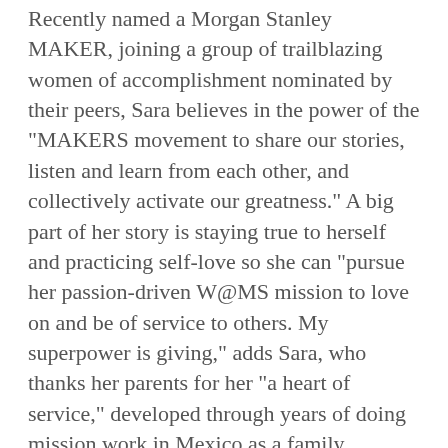Recently named a Morgan Stanley MAKER, joining a group of trailblazing women of accomplishment nominated by their peers, Sara believes in the power of the “MAKERS movement to share our stories, listen and learn from each other, and collectively activate our greatness.” A big part of her story is staying true to herself and practicing self-love so she can “pursue her passion-driven W@MS mission to love on and be of service to others. My superpower is giving,” adds Sara, who thanks her parents for her “a heart of service,” developed through years of doing mission work in Mexico as a family.
Today, Fearless Girl remains just as special to Sara, who admires the statue’s photo on their Seattle